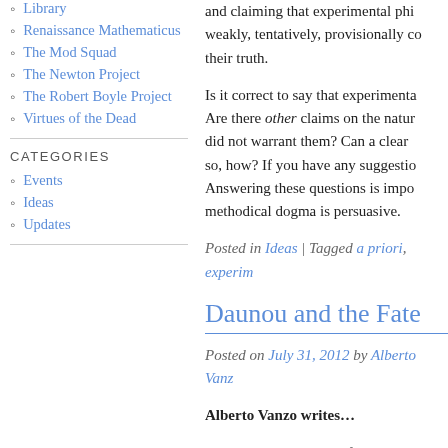Library
Renaissance Mathematicus
The Mod Squad
The Newton Project
The Robert Boyle Project
Virtues of the Dead
CATEGORIES
Events
Ideas
Updates
and claiming that experimental phi... weakly, tentatively, provisionally co... their truth.
Is it correct to say that experimenta... Are there other claims on the natur... did not warrant them? Can a clear... so, how? If you have any suggestio... Answering these questions is impo... methodical dogma is persuasive.
Posted in Ideas | Tagged a priori, experim...
Daunou and the Fate...
Posted on July 31, 2012 by Alberto Vanz...
Alberto Vanzo writes...
On this blog, we have often stresse... happened to this movement in the... Encyclopedia Britannica was subst... philosophical scene. Something sim... observational philosophy was adim...